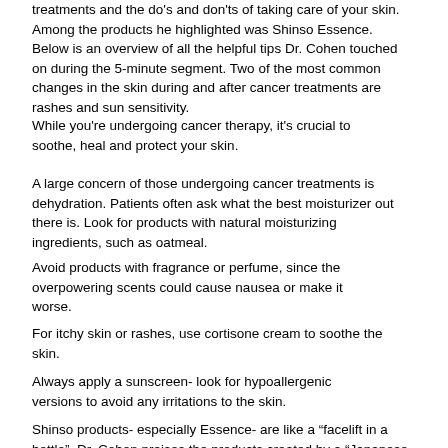treatments and the do's and don'ts of taking care of your skin. Among the products he highlighted was Shinso Essence. Below is an overview of all the helpful tips Dr. Cohen touched on during the 5-minute segment. Two of the most common changes in the skin during and after cancer treatments are rashes and sun sensitivity.
While you're undergoing cancer therapy, it's crucial to soothe, heal and protect your skin.
A large concern of those undergoing cancer treatments is dehydration. Patients often ask what the best moisturizer out there is. Look for products with natural moisturizing ingredients, such as oatmeal.
Avoid products with fragrance or perfume, since the overpowering scents could cause nausea or make it worse.
For itchy skin or rashes, use cortisone cream to soothe the skin.
Always apply a sunscreen- look for hypoallergenic versions to avoid any irritations to the skin.
Shinso products- especially Essence- are like a “facelift in a bottle”. Dr. Cohen praises the products created by a “Japanese rocket scientist” for their face-lifting properties. All Shinso products are also made without parabens or